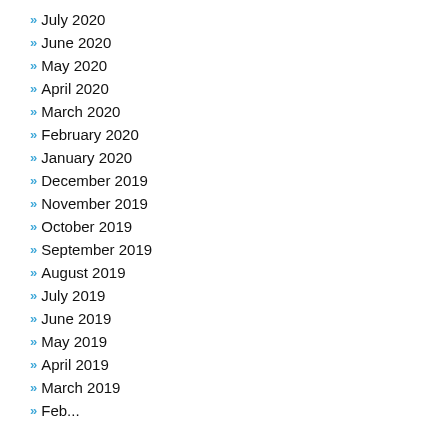July 2020
June 2020
May 2020
April 2020
March 2020
February 2020
January 2020
December 2019
November 2019
October 2019
September 2019
August 2019
July 2019
June 2019
May 2019
April 2019
March 2019
February 2019